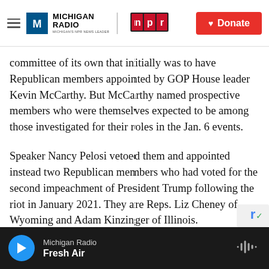Michigan Radio | NPR | Donate
committee of its own that initially was to have Republican members appointed by GOP House leader Kevin McCarthy. But McCarthy named prospective members who were themselves expected to be among those investigated for their roles in the Jan. 6 events.
Speaker Nancy Pelosi vetoed them and appointed instead two Republican members who had voted for the second impeachment of President Trump following the riot in January 2021. They are Reps. Liz Cheney of Wyoming and Adam Kinzinger of Illinois.
Michigan Radio — Fresh Air